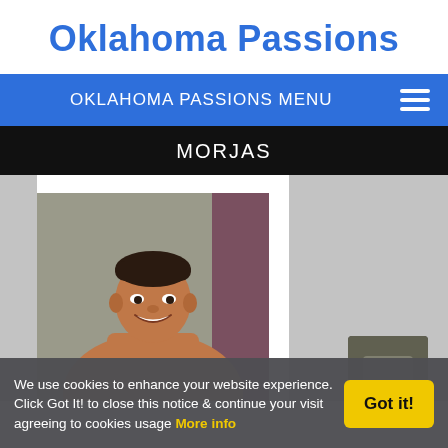Oklahoma Passions
OKLAHOMA PASSIONS MENU
MORJAS
[Figure (photo): Profile photo of a man smiling, shirtless, against a gray and purple background, with a smaller thumbnail image partially visible to the right.]
We use cookies to enhance your website experience. Click Got It! to close this notice & continue your visit agreeing to cookies usage More info